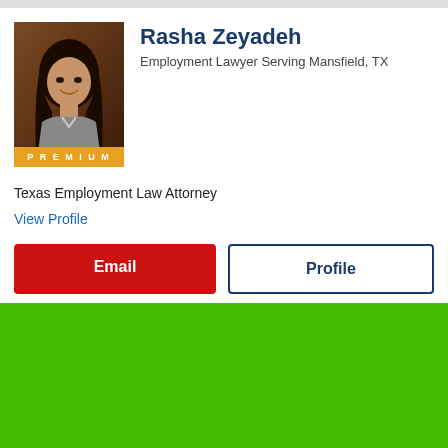[Figure (photo): Professional headshot of Rasha Zeyadeh, a woman with dark hair smiling, with a brown/dark background. A gold PREMIUM badge appears at the bottom of the photo.]
Rasha Zeyadeh
Employment Lawyer Serving Mansfield, TX
Texas Employment Law Attorney
View Profile